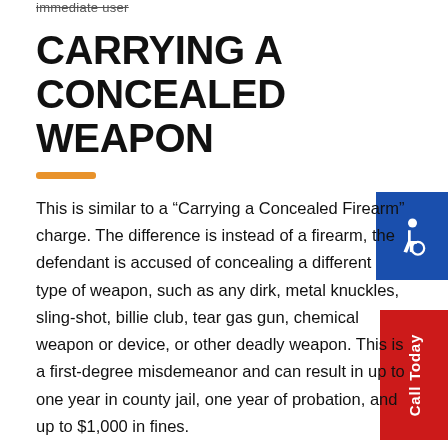immediate user
CARRYING A CONCEALED WEAPON
This is similar to a “Carrying a Concealed Firearm” charge. The difference is instead of a firearm, the defendant is accused of concealing a different type of weapon, such as any dirk, metal knuckles, sling-shot, billie club, tear gas gun, chemical weapon or device, or other deadly weapon. This is a first-degree misdemeanor and can result in up to one year in county jail, one year of probation, and up to $1,000 in fines.
If you have a concealed weapons permit in Florida or in a state that offers concealed carry reciprocity, then you can lawfully